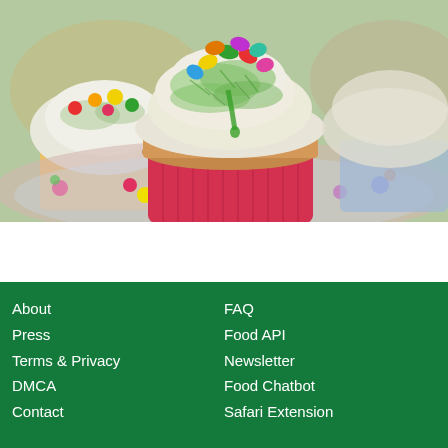[Figure (photo): Close-up photo of cupcakes with white frosting, green coconut shreds, and colorful jelly beans/candies on top, served on a floral plate. The cupcakes have red/pink paper wrappers.]
About | Press | Terms & Privacy | DMCA | Contact | FAQ | Food API | Newsletter | Food Chatbot | Safari Extension